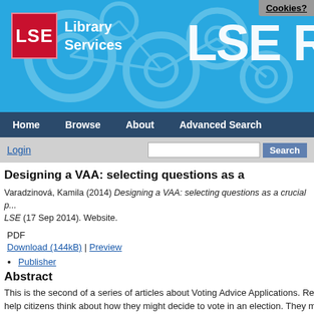[Figure (screenshot): LSE Library Services banner with blue background, circular network graphic, LSE red logo box, and partial 'LSE R' text on right. Cookies button in top-right corner.]
Home  Browse  About  Advanced Search
Login  [search box]  Search
Designing a VAA: selecting questions as a
Varadzinová, Kamila (2014) Designing a VAA: selecting questions as a crucial p... LSE (17 Sep 2014). Website.
PDF
Download (144kB) | Preview
Publisher
Abstract
This is the second of a series of articles about Voting Advice Applications. Read... help citizens think about how they might decide to vote in an election. They mig... could access via a desktop, laptop, tablet or mobile connected device. They ar...